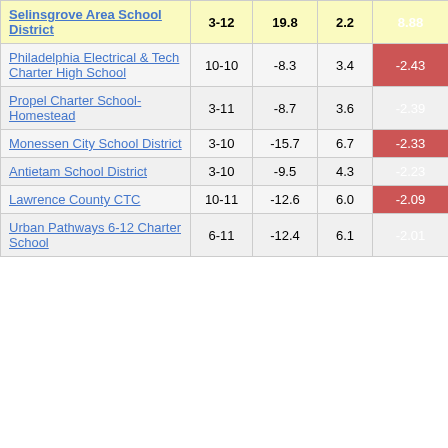| School/District | Grades | Col3 | Col4 | Col5 |
| --- | --- | --- | --- | --- |
| Selinsgrove Area School District | 3-12 | 19.8 | 2.2 | 8.88 |
| Philadelphia Electrical & Tech Charter High School | 10-10 | -8.3 | 3.4 | -2.43 |
| Propel Charter School- Homestead | 3-11 | -8.7 | 3.6 | -2.39 |
| Monessen City School District | 3-10 | -15.7 | 6.7 | -2.33 |
| Antietam School District | 3-10 | -9.5 | 4.3 | -2.23 |
| Lawrence County CTC | 10-11 | -12.6 | 6.0 | -2.09 |
| Urban Pathways 6-12 Charter School | 6-11 | -12.4 | 6.1 | -2.01 |